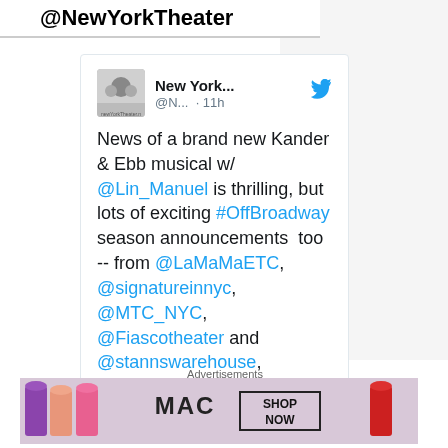@NewYorkTheater
New York... @N... · 11h

News of a brand new Kander & Ebb musical w/ @Lin_Manuel is thrilling, but lots of exciting #OffBroadway season announcements  too -- from @LaMaMaETC, @signatureinnyc, @MTC_NYC, @Fiascotheater and @stannswarehouse, beginning w/ @wellswithamel...
[Figure (screenshot): MAC cosmetics advertisement banner with lipsticks and SHOP NOW button]
Advertisements